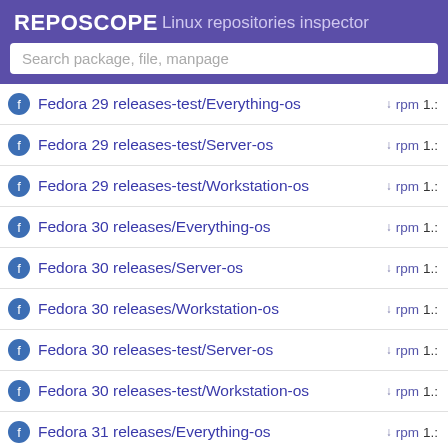REPOSCOPE Linux repositories inspector
Search package, file, manpage
Fedora 29 releases-test/Everything-os  rpm  1.
Fedora 29 releases-test/Server-os  rpm  1.
Fedora 29 releases-test/Workstation-os  rpm  1.
Fedora 30 releases/Everything-os  rpm  1.
Fedora 30 releases/Server-os  rpm  1.
Fedora 30 releases/Workstation-os  rpm  1.
Fedora 30 releases-test/Server-os  rpm  1.
Fedora 30 releases-test/Workstation-os  rpm  1.
Fedora 31 releases/Everything-os  rpm  1.
Fedora 31 releases/Server-os  rpm  1.
Fedora rawhide development/Everything-os  rpm  1.
Fedora rawhide development/Server-os  rpm  1.
Fedora rawhide development/Workstation-os  rpm  1.
Manjaro rolling stable/extra  xz  1.